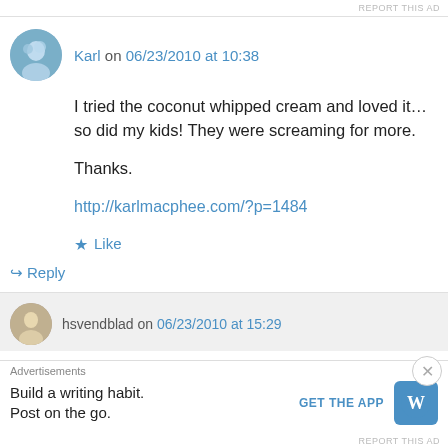REPORT THIS AD
Karl on 06/23/2010 at 10:38
I tried the coconut whipped cream and loved it… so did my kids! They were screaming for more.

Thanks.

http://karlmacphee.com/?p=1484
★ Like
↳ Reply
hsvendblad on 06/23/2010 at 15:29
Advertisements
Build a writing habit. Post on the go.
GET THE APP
REPORT THIS AD